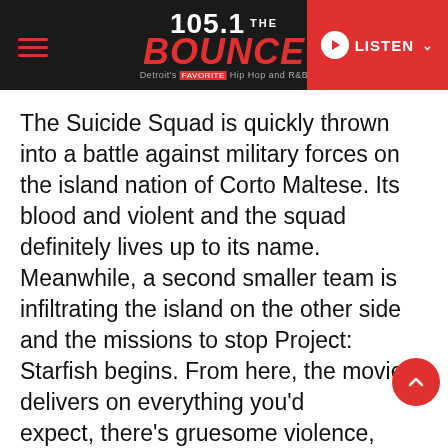105.1 THE BOUNCE — Detroit's Hip Hop and R&B — LISTEN
The Suicide Squad is quickly thrown into a battle against military forces on the island nation of Corto Maltese. Its blood and violent and the squad definitely lives up to its name. Meanwhile, a second smaller team is infiltrating the island on the other side and the missions to stop Project: Starfish begins. From here, the movie delivers on everything you'd expect, there's gruesome violence, there are quippy one-liners and funny scenes with King Shark. But where Suicide Squad really delivers and what makes this the best DC Universe movie so far, has nothing to do with